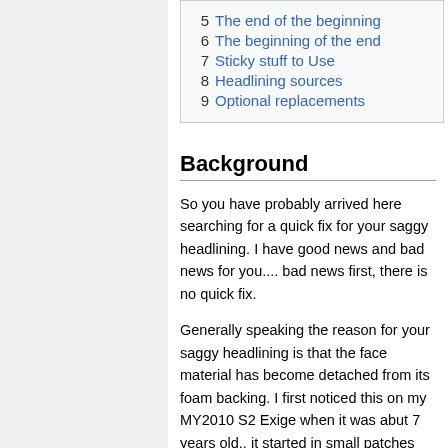5  The end of the beginning
6  The beginning of the end
7  Sticky stuff to Use
8  Headlining sources
9  Optional replacements
Background
So you have probably arrived here searching for a quick fix for your saggy headlining. I have good news and bad news for you.... bad news first, there is no quick fix.
Generally speaking the reason for your saggy headlining is that the face material has become detached from its foam backing. I first noticed this on my MY2010 S2 Exige when it was abut 7 years old.. it started in small patches but over the next few years it deteriorated to